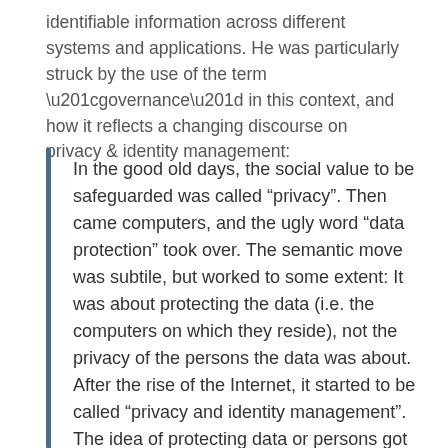identifiable information across different systems and applications. He was particularly struck by the use of the term “governance” in this context, and how it reflects a changing discourse on privacy & identity management:
In the good old days, the social value to be safeguarded was called “privacy”. Then came computers, and the ugly word “data protection” took over. The semantic move was subtile, but worked to some extent: It was about protecting the data (i.e. the computers on which they reside), not the privacy of the persons the data was about. After the rise of the Internet, it started to be called “privacy and identity management”. The idea of protecting data or persons got lost and replaced by “management”. Instead, “identity” was introduced, which also includes considerations of